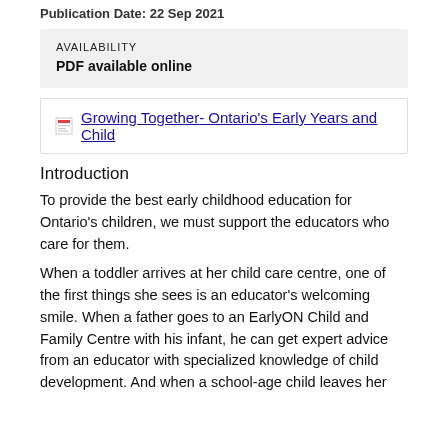Publication Date: 22 Sep 2021
AVAILABILITY
PDF available online
Growing Together- Ontario's Early Years and Child
Introduction
To provide the best early childhood education for Ontario's children, we must support the educators who care for them.
When a toddler arrives at her child care centre, one of the first things she sees is an educator's welcoming smile. When a father goes to an EarlyON Child and Family Centre with his infant, he can get expert advice from an educator with specialized knowledge of child development. And when a school-age child leaves her